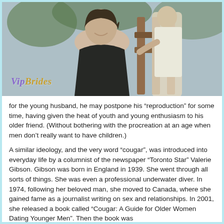[Figure (photo): Two people posing outdoors, a woman in a black strapless outfit sitting by a wooden chair, smiling, with a man standing behind her. A watermark reading 'VipBrides' appears in the lower left of the photo.]
for the young husband, he may postpone his “reproduction” for some time, having given the heat of youth and young enthusiasm to his older friend. (Without bothering with the procreation at an age when men don’t really want to have children.)
A similar ideology, and the very word “cougar”, was introduced into everyday life by a columnist of the newspaper “Toronto Star” Valerie Gibson. Gibson was born in England in 1939. She went through all sorts of things. She was even a professional underwater diver. In 1974, following her beloved man, she moved to Canada, where she gained fame as a journalist writing on sex and relationships. In 2001, she released a book called “Cougar: A Guide for Older Women Dating Younger Men”. Then the book was